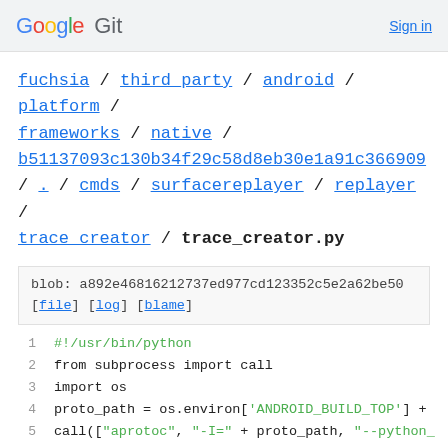Google Git  Sign in
fuchsia / third_party / android / platform / frameworks / native / b51137093c130b34f29c58d8eb30e1a91c366909 / . / cmds / surfacereplayer / replayer / trace_creator / trace_creator.py
blob: a892e46816212737ed977cd123352c5e2a62be50
[file] [log] [blame]
1  #!/usr/bin/python
2  from subprocess import call
3  import os
4  proto_path = os.environ['ANDROID_BUILD_TOP'] +
5  call(["aprotoc", "-I=" + proto_path, "--python_
6  
7  from trace_pb2 import *